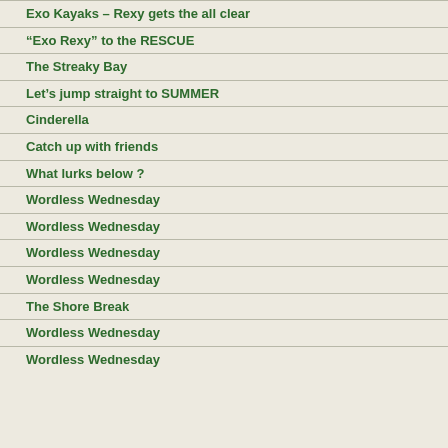Exo Kayaks – Rexy gets the all clear
“Exo Rexy” to the RESCUE
The Streaky Bay
Let’s jump straight to SUMMER
Cinderella
Catch up with friends
What lurks below ?
Wordless Wednesday
Wordless Wednesday
Wordless Wednesday
Wordless Wednesday
The Shore Break
Wordless Wednesday
Wordless Wednesday